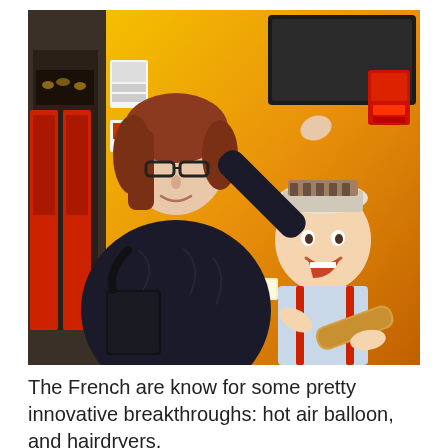[Figure (photo): A woman with reddish-brown hair and glasses, wearing a dark puffer jacket and carrying a black bag, smiling and reaching toward a vending machine or ATM decorated with a colorful illustration of a young boy in a baker's outfit holding a baguette. The machine has a yellow/orange graphic background. Behind her is a bakery with red doors and bread visible through the window.]
The French are know for some pretty innovative breakthroughs: hot air balloon, and hairdryers,